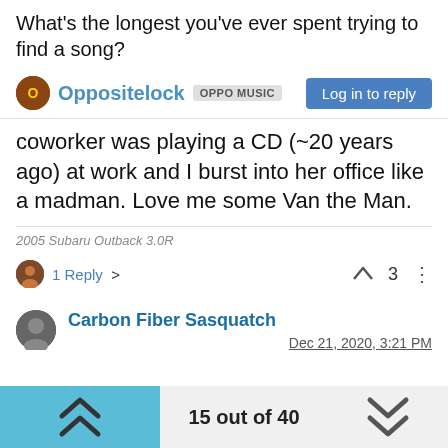What's the longest you've ever spent trying to find a song?
Oppositelock  OPPO MUSIC  Log in to reply
coworker was playing a CD (~20 years ago) at work and I burst into her office like a madman. Love me some Van the Man.
2005 Subaru Outback 3.0R
1 Reply >   ∧  3  ⋮
Carbon Fiber Sasquatch
Dec 21, 2020, 3:21 PM
15 out of 40